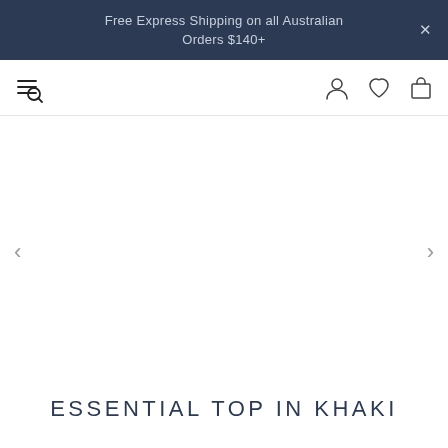Free Express Shipping on all Australian Orders $140+
[Figure (screenshot): Navigation bar with hamburger+search icon on left and user account, wishlist heart, and shopping bag icons on right]
[Figure (photo): Product image carousel area with left and right navigation arrows, currently showing blank/white product image]
ESSENTIAL TOP IN KHAKI